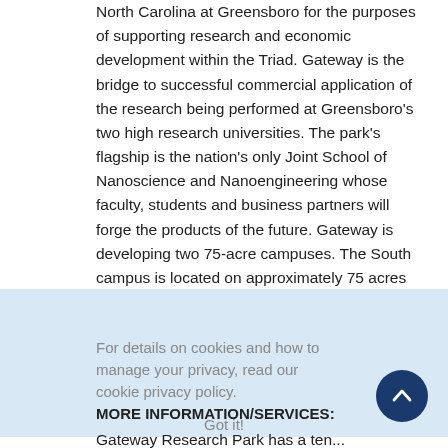North Carolina at Greensboro for the purposes of supporting research and economic development within the Triad. Gateway is the bridge to successful commercial application of the research being performed at Greensboro's two high research universities. The park's flagship is the nation's only Joint School of Nanoscience and Nanoengineering whose faculty, students and business partners will forge the products of the future. Gateway is developing two 75-acre campuses. The South campus is located on approximately 75 acres located off Lee Street near the I-40/85 interchange. The South Campus currently has one building comprising 63,000 square feet of space with another 105,000 square feet, which is the Joint School of Nanoscience and Nanoengineering, currently under construction.
MORE INFORMATION/SERVICES:
Gateway Research Park has a ten...